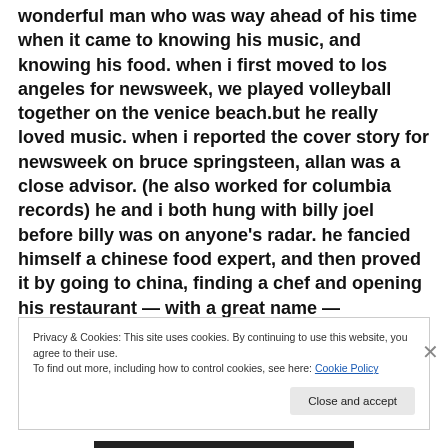wonderful man who was way ahead of his time when it came to knowing his music, and knowing his food. when i first moved to los angeles for newsweek, we played volleyball together on the venice beach.but he really loved music. when i reported the cover story for newsweek on bruce springsteen, allan was a close advisor. (he also worked for columbia records) he and i both hung with billy joel before billy was on anyone's radar. he fancied himself a chinese food expert, and then proved it by going to china, finding a chef and opening his restaurant — with a great name —
Privacy & Cookies: This site uses cookies. By continuing to use this website, you agree to their use. To find out more, including how to control cookies, see here: Cookie Policy